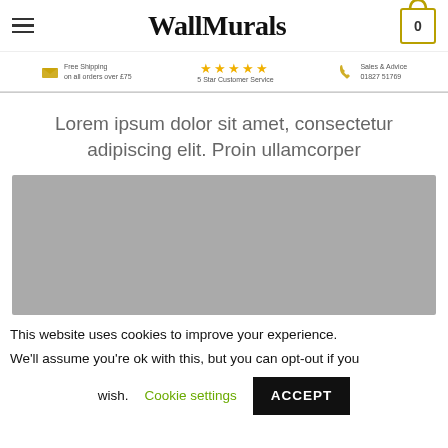WallMurals
Free Shipping on all orders over £75 | ★★★★★ 5 Star Customer Service | Sales & Advice 01827 51769
Lorem ipsum dolor sit amet, consectetur adipiscing elit. Proin ullamcorper
[Figure (photo): Grey placeholder image for wall mural product]
This website uses cookies to improve your experience. We'll assume you're ok with this, but you can opt-out if you wish. Cookie settings ACCEPT